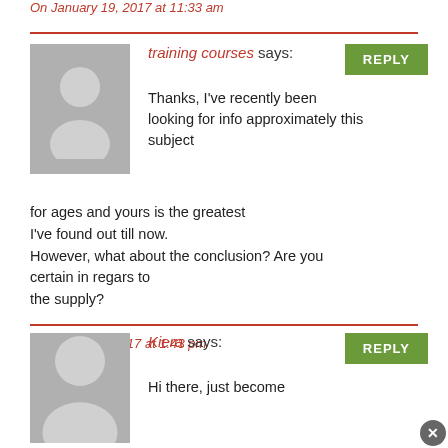On January 19, 2017 at 11:33 am
training courses says:
Thanks, I've recently been looking for info approximately this subject for ages and yours is the greatest I've found out till now. However, what about the conclusion? Are you certain in regars to the supply?
On March 29, 2017 at 1:43 pm
Kiera says:
Hi there, just become